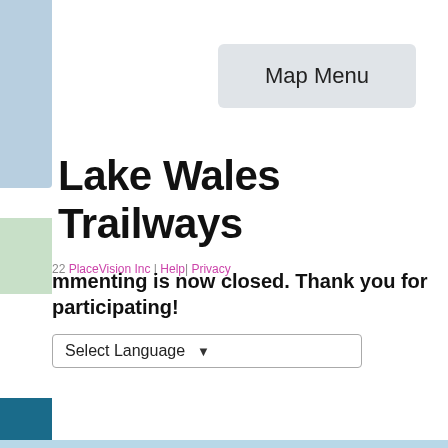[Figure (screenshot): Map Menu button — rounded rectangle with light gray background labeled 'Map Menu']
Lake Wales Trailways
22 PlaceVision Inc | Help| Privacy
Commenting is now closed. Thank you for participating!
Select Language ▼